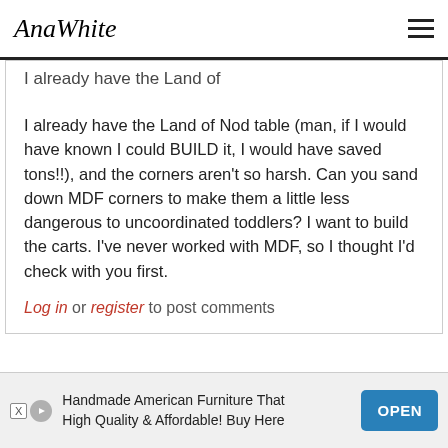AnaWhite
I already have the Land of
I already have the Land of Nod table (man, if I would have known I could BUILD it, I would have saved tons!!), and the corners aren't so harsh. Can you sand down MDF corners to make them a little less dangerous to uncoordinated toddlers? I want to build the carts. I've never worked with MDF, so I thought I'd check with you first.
Log in or register to post comments
Jennifer (not verified)
Tue, 04/06/2010 - 13:46
Handmade American Furniture That High Quality & Affordable! Buy Here